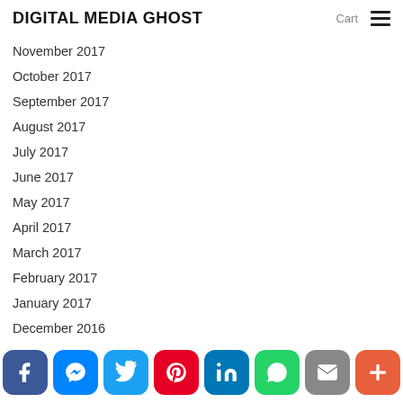DIGITAL MEDIA GHOST | Cart
November 2017
October 2017
September 2017
August 2017
July 2017
June 2017
May 2017
April 2017
March 2017
February 2017
January 2017
December 2016
November 2016